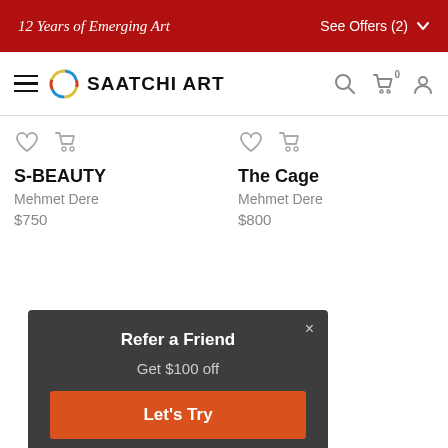12 Years of Emerging Art   See Offers (2)
[Figure (screenshot): Saatchi Art navigation bar with hamburger menu, circular colorful logo, SAATCHI ART text, search icon, cart icon, and user icon]
S-BEAUTY
Mehmet Dere
$750
The Cage
Mehmet Dere
$800
Refer a Friend
Get $100 off
Let's Try